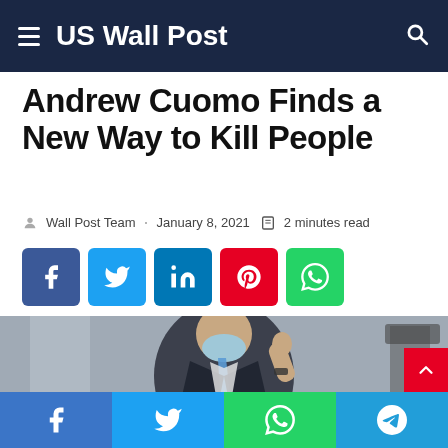US Wall Post
Andrew Cuomo Finds a New Way to Kill People
Wall Post Team · January 8, 2021 · 2 minutes read
[Figure (other): Social share buttons: Facebook (blue), Twitter (light blue), LinkedIn (blue), Pinterest (red), WhatsApp (green)]
[Figure (photo): Man in a dark suit and blue tie wearing a light blue face mask, giving a thumbs up gesture. Background shows a gray wall and partial view of a podium.]
Facebook · Twitter · WhatsApp · Telegram share buttons